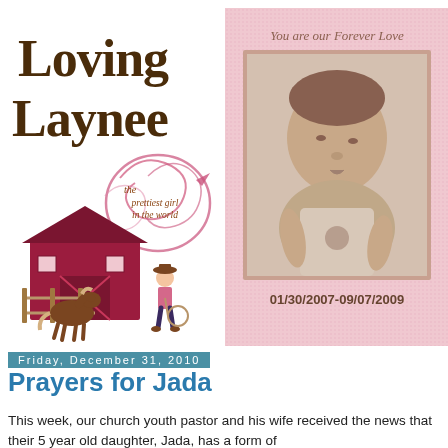[Figure (illustration): Loving Laynee blog header - left side with decorative text 'Loving Laynee', ribbon heart with script 'the prettiest girl in the world', red barn, horse at fence, cowgirl figure]
[Figure (photo): Memorial photo collage - right side with pink textured background, script text 'You are our Forever Love', sepia-toned baby photo, dates 01/30/2007-09/07/2009]
Friday, December 31, 2010
Prayers for Jada
This week, our church youth pastor and his wife received the news that their 5 year old daughter, Jada, has a form of